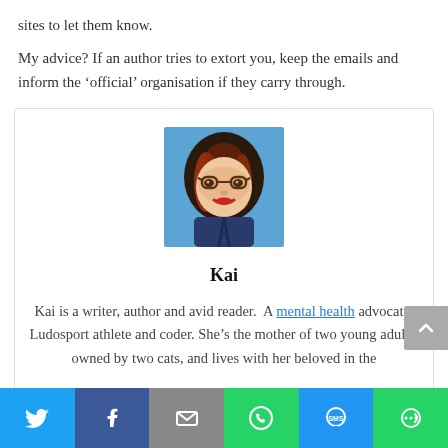sites to let them know.
My advice? If an author tries to extort you, keep the emails and inform the ‘official’ organisation if they carry through.
[Figure (illustration): Illustrated portrait of Kai: a woman with long dark red-highlighted hair, glasses, red lips, against a colorful painted background.]
Kai
Kai is a writer, author and avid reader. A mental health advocate, Ludosport athlete and coder. She’s the mother of two young adults, owned by two cats, and lives with her beloved in the
[Figure (infographic): Social sharing bar with icons for Twitter, Facebook, Email, WhatsApp, SMS, and More.]